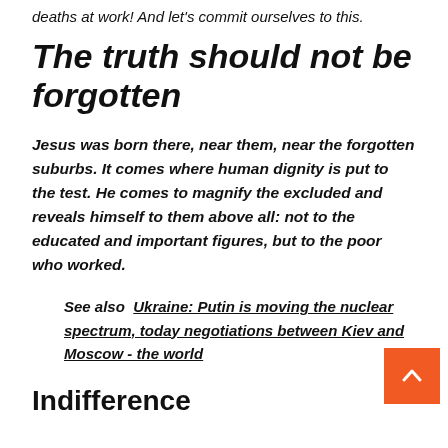deaths at work! And let's commit ourselves to this.
The truth should not be forgotten
Jesus was born there, near them, near the forgotten suburbs. It comes where human dignity is put to the test. He comes to magnify the excluded and reveals himself to them above all: not to the educated and important figures, but to the poor who worked.
See also  Ukraine: Putin is moving the nuclear spectrum, today negotiations between Kiev and Moscow - the world
Indifference